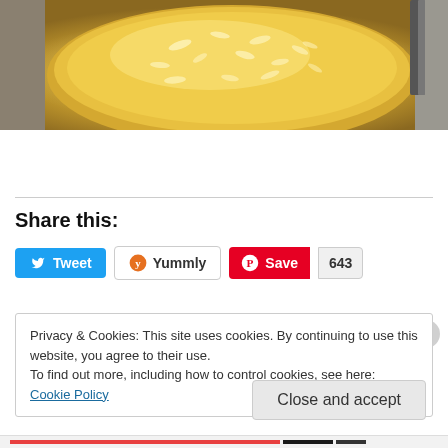[Figure (photo): Close-up photo of a round tart or pie with a golden yellow glaze and flaked almond topping, placed on a wooden cutting board. A knife handle is visible at the top right. The left side shows a dark grey/brown background.]
Share this:
Tweet  Yummly  Save  643
Privacy & Cookies: This site uses cookies. By continuing to use this website, you agree to their use.
To find out more, including how to control cookies, see here: Cookie Policy
Close and accept